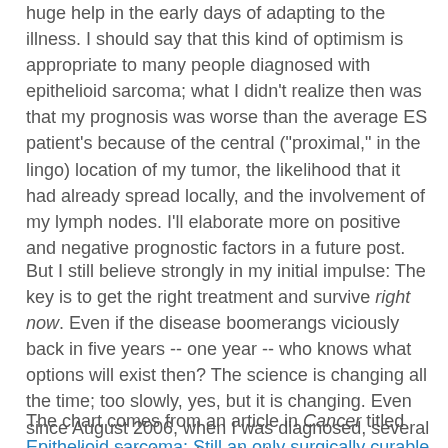huge help in the early days of adapting to the illness. I should say that this kind of optimism is appropriate to many people diagnosed with epithelioid sarcoma; what I didn't realize then was that my prognosis was worse than the average ES patient's because of the central ("proximal," in the lingo) location of my tumor, the likelihood that it had already spread locally, and the involvement of my lymph nodes. I'll elaborate more on positive and negative prognostic factors in a future post.
But I still believe strongly in my initial impulse: The key is to get the right treatment and survive right now. Even if the disease boomerangs viciously back in five years -- one year -- who knows what options will exist then? The science is changing all the time; too slowly, yes, but it is changing. Even since August 2006, when I was diagnosed, several promising trials have launched, and one strong effort (yondelis, or ET-743) has apparently bombed, at least for ES.
The chart comes from an article in Cancer titled Epithelioid sarcoma: Still an only surgically curable disease.